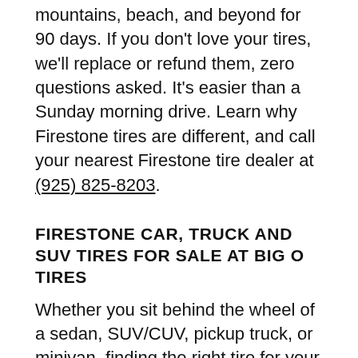mountains, beach, and beyond for 90 days. If you don't love your tires, we'll replace or refund them, zero questions asked. It's easier than a Sunday morning drive. Learn why Firestone tires are different, and call your nearest Firestone tire dealer at (925) 825-8203.
FIRESTONE CAR, TRUCK AND SUV TIRES FOR SALE AT BIG O TIRES
Whether you sit behind the wheel of a sedan, SUV/CUV, pickup truck, or minivan, finding the right tire for your vehicle and budget is easy to do at Firestone tire dealers like Big O Tires. For Firestone SUV or truck tires in Pleasant Hill, talk to Big O Tires about Destination and Transforce tires. Destination all-season tires have surfaced as one of our best-selling tires for a reason—they're downright dependable throughout the seasons and the tire's tread life. The latest Destination LE3 tire, in particular, is designed and made with the most advanced all-season tire technology to give pickup truck and SUV/CUV drivers a quiet, comfortable ride on wet